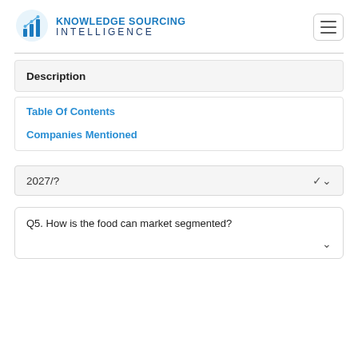[Figure (logo): Knowledge Sourcing Intelligence logo with icon and text]
Description
Table Of Contents
Companies Mentioned
2027/?
Q5. How is the food can market segmented?